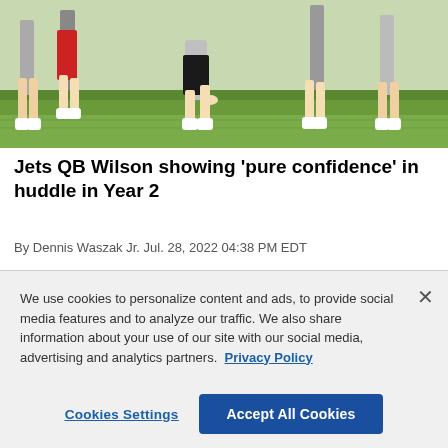[Figure (photo): Photo of football players on a green grass field, showing legs and feet in athletic gear during practice]
Jets QB Wilson showing 'pure confidence' in huddle in Year 2
By Dennis Waszak Jr. Jul. 28, 2022 04:38 PM EDT
We use cookies to personalize content and ads, to provide social media features and to analyze our traffic. We also share information about your use of our site with our social media, advertising and analytics partners. Privacy Policy